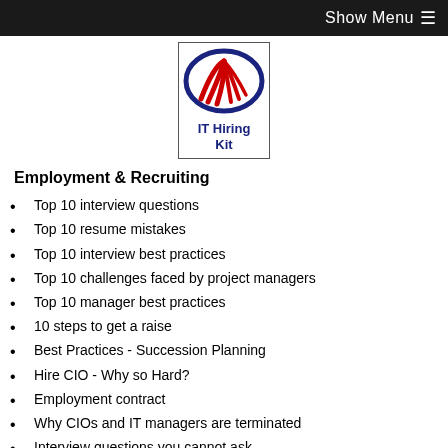Show Menu ☰
[Figure (logo): IT Hiring Kit logo with red and blue swoosh design, text 'IT Hiring Kit' below]
Employment & Recruiting
Top 10 interview questions
Top 10 resume mistakes
Top 10 interview best practices
Top 10 challenges faced by project managers
Top 10 manager best practices
10 steps to get a raise
Best Practices - Succession Planning
Hire CIO - Why so Hard?
Employment contract
Why CIOs and IT managers are terminated
Interview questions you cannot ask
Millennial or older employee